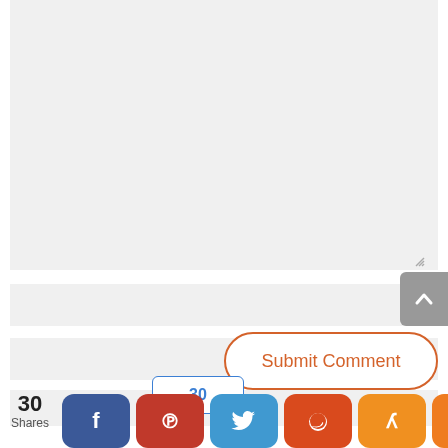[Figure (screenshot): Web comment form with a large textarea input box (light gray background with resize handle), two single-line input fields below it, and a Submit Comment button with orange border. Below are social share buttons (Facebook, Pinterest, Twitter, Reddit, Yummly, Share) and a share count of 30.]